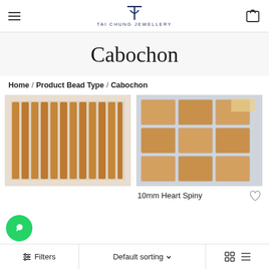TAI CHUNG JEWELLERY
Cabochon
Home / Product Bead Type / Cabochon
[Figure (photo): Rows of amber/brown cabochon beads arranged in vertical strips on a white surface]
[Figure (photo): Multiple plastic trays of amber/brown cabochon beads arranged in a grid on a grey surface]
10mm Heart Spiny
Filters  Default sorting  (grid/list view icons)